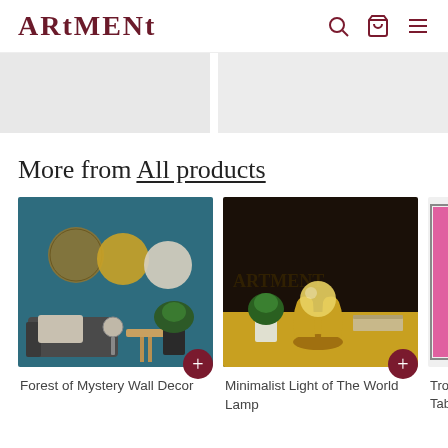ARTMENT
[Figure (photo): Two partially visible banner/hero images side by side, light grey placeholders]
More from All products
[Figure (photo): Forest of Mystery Wall Decor - three circular metallic wall art discs (gold, yellow, white) on a teal wall above a couch with plants]
Forest of Mystery Wall Decor
[Figure (photo): Minimalist Light of The World Lamp - golden hand sculpture holding a glass orb, on a mustard yellow surface with green plant and books]
Minimalist Light of The World Lamp
[Figure (photo): Trojan Table... (partially visible product, colorful framed art)]
Trojan Table